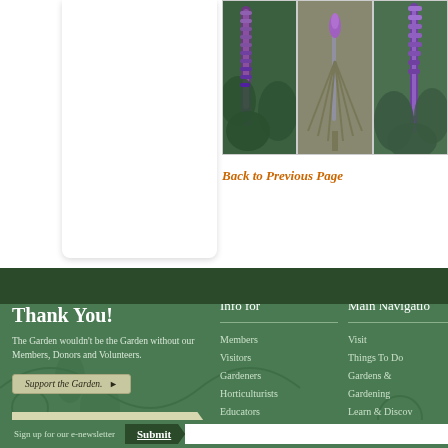[Figure (photo): Three photos of purple flowering plants (Liatris/blazing star) in garden settings]
Back to Previous Page
Thank You!
The Garden wouldn't be the Garden without our Members, Donors and Volunteers.
Support the Garden.
Become a Member!
Members get more.
Info for
Members
Visitors
Gardeners
Horticulturists
Educators
Researchers
Main Navigation
Visit
Things To Do
Gardens & Gardening
Learn & Discover
Sustainability & Conservation
Plant Science
About
Sign up for our e-newsletter
Submit